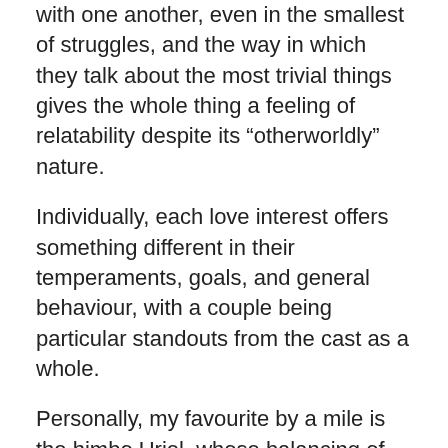with one another, even in the smallest of struggles, and the way in which they talk about the most trivial things gives the whole thing a feeling of relatability despite its “otherwordly” nature.
Individually, each love interest offers something different in their temperaments, goals, and general behaviour, with a couple being particular standouts from the cast as a whole.
Personally, my favourite by a mile is the himbo Uriel, whose balancing of dorkiness and big-heartedness made for the most fun in conversations. Then we have the workaholic leader type Michael, whose uptight and strait-laced exterior covers up his more vulnerable side; the nerdy Raphael whose intelligence is juxtaposed with his difficulty in keeping up with humanity’s urban dictionary; the obligatory flirt Gabriel, who is secretly